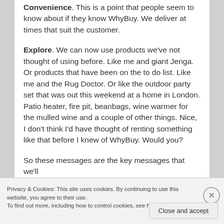Convenience. This is a point that people seem to know about if they know WhyBuy. We deliver at times that suit the customer.
Explore. We can now use products we've not thought of using before. Like me and giant Jenga. Or products that have been on the to do list. Like me and the Rug Doctor. Or like the outdoor party set that was out this weekend at a home in London. Patio heater, fire pit, beanbags, wine warmer for the mulled wine and a couple of other things. Nice, I don't think I'd have thought of renting something like that before I knew of WhyBuy. Would you?
So these messages are the key messages that we'll
Privacy & Cookies: This site uses cookies. By continuing to use this website, you agree to their use.
To find out more, including how to control cookies, see here: Cookie Policy
Close and accept